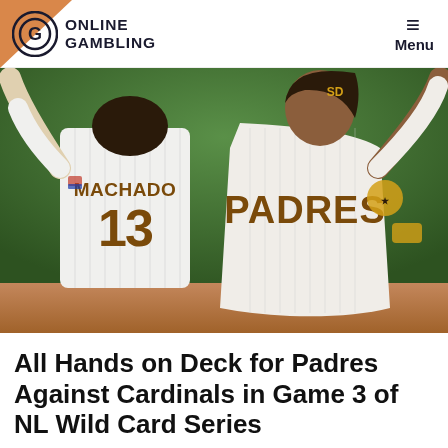ONLINE GAMBLING  Menu
[Figure (photo): Two San Diego Padres baseball players celebrating, one wearing a jersey with 'MACHADO 13' on the back, the other facing forward wearing a 'PADRES' jersey with an SD helmet, arms raised in celebration on a baseball field with green background.]
All Hands on Deck for Padres Against Cardinals in Game 3 of NL Wild Card Series